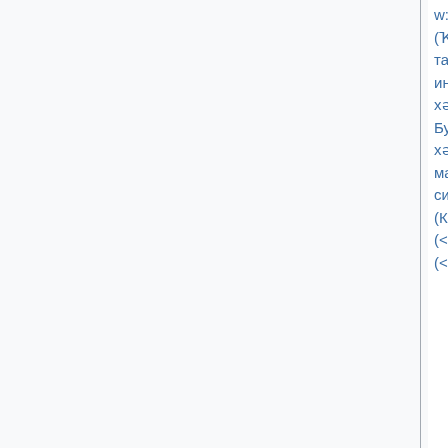w:ba:Горькийҙың әҙәби-мемориаль музейы (Ҡазан) (1) • w:ba:Гродно дәүләт дин тарихы музейы (0) • w:ba:Артиллерия, инженер һәм бәйләнеш ғәскәрҙәренең хәрби-тарихи музейы (1) • w:ba:Симон Будный һәйкәле (Несвиж) (0) • w:ba:Үҙәк хәрби-диңгеҙ музейы (1) • w:ba:Замок манараһы (Несвиж) (0) • w:ba:Ҡарай сиркәүе (Минск) (0) • w:ba:Замок манараһы (Кёнигсберг) (<100k) (2) • w:ba:Молодечно (<100k) (0) • w:ba:Бор ҡалаһы ҡала округы (<100k) (4) •